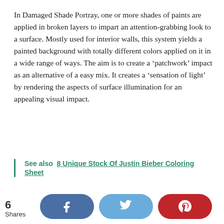In Damaged Shade Portray, one or more shades of paints are applied in broken layers to impart an attention-grabbing look to a surface. Mostly used for interior walls, this system yields a painted background with totally different colors applied on it in a wide range of ways. The aim is to create a ‘patchwork’ impact as an alternative of a easy mix. It creates a ‘sensation of light’ by rendering the aspects of surface illumination for an appealing visual impact.
See also  8 Unique Stock Of Justin Bieber Coloring Sheet
6 Shares